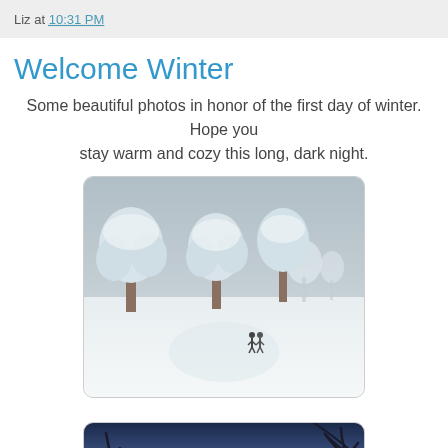Liz at 10:31 PM
Welcome Winter
Some beautiful photos in honor of the first day of winter. Hope you stay warm and cozy this long, dark night.
[Figure (photo): Snow-covered trees and two people walking on a snowy landscape]
[Figure (photo): Winter sunset with bare tree silhouette and colorful sky]